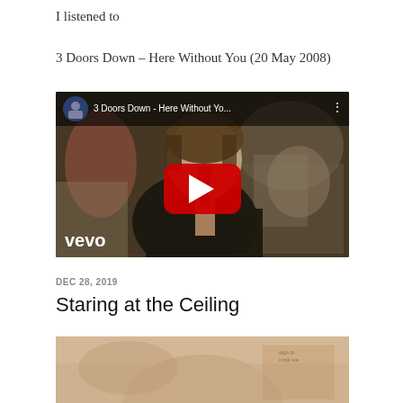I listened to
3 Doors Down – Here Without You (20 May 2008)
[Figure (screenshot): YouTube video thumbnail for '3 Doors Down - Here Without Yo...' showing a singer holding a microphone, with the YouTube play button overlay and Vevo logo in the lower left.]
DEC 28, 2019
Staring at the Ceiling
[Figure (photo): Partial image visible at bottom of page, appears to be a light-toned photograph, partially cropped.]